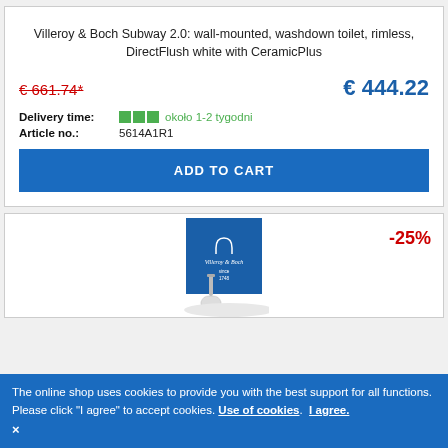Villeroy & Boch Subway 2.0: wall-mounted, washdown toilet, rimless, DirectFlush white with CeramicPlus
€ 661.74* (strikethrough old price) | € 444.22 (new price)
Delivery time: ■■■ około 1-2 tygodni
Article no.: 5614A1R1
ADD TO CART
[Figure (logo): Villeroy & Boch logo on blue square background]
-25%
The online shop uses cookies to provide you with the best support for all functions. Please click "I agree" to accept cookies. Use of cookies. I agree. ×